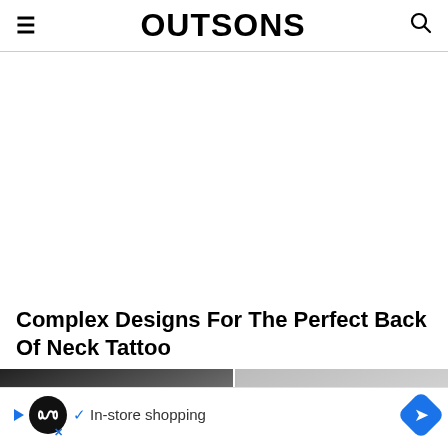OUTSONS
[Figure (other): Large white/blank advertisement or content area below the header]
Complex Designs For The Perfect Back Of Neck Tattoo
[Figure (photo): Partial view of a back-of-neck tattoo photo at the bottom of the page]
[Figure (other): Advertisement banner at the bottom: logo with infinity symbol, checkmark, 'In-store shopping' text, and a blue arrow icon]